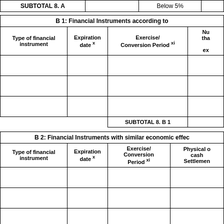| SUBTOTAL 8. A |  | Below 5% |  |
| --- | --- | --- | --- |
| B 1: Financial Instruments according to |
| --- |
| Type of financial instrument | Expiration date x | Exercise/ Conversion Period xi | Nu tha ex |
|  |  |  |  |
|  |  |  |  |
|  |  |  |  |
|  | SUBTOTAL 8. B 1 |  |  |
| B 2: Financial Instruments with similar economic effec |
| --- |
| Type of financial instrument | Expiration date x | Exercise/ Conversion Period xi | Physical c cash Settlement |
|  |  |  |  |
|  |  |  |  |
|  |  |  |  |